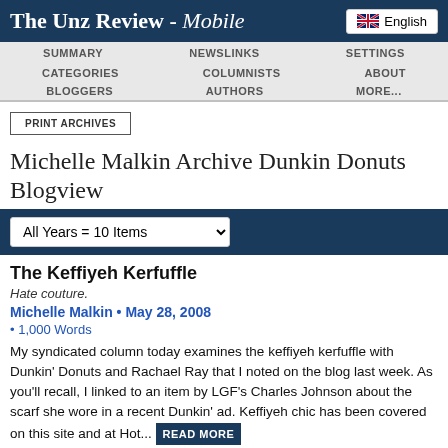The Unz Review - Mobile
English
SUMMARY  NEWSLINKS  SETTINGS  CATEGORIES  COLUMNISTS  ABOUT  BLOGGERS  AUTHORS  MORE...
PRINT ARCHIVES
Michelle Malkin Archive Dunkin Donuts   Blogview
All Years = 10 Items
The Keffiyeh Kerfuffle
Hate couture.
Michelle Malkin • May 28, 2008
• 1,000 Words
My syndicated column today examines the keffiyeh kerfuffle with Dunkin' Donuts and Rachael Ray that I noted on the blog last week. As you'll recall, I linked to an item by LGF's Charles Johnson about the scarf she wore in a recent Dunkin' ad. Keffiyeh chic has been covered on this site and at Hot... READ MORE